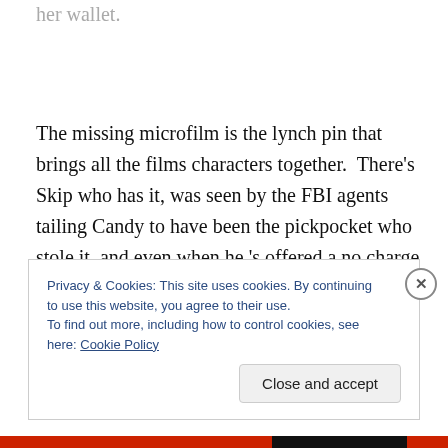her wallet.
The missing microfilm is the lynch pin that brings all the films characters together.  There’s Skip who has it, was seen by the FBI agents tailing Candy to have been the pickpocket who stole it, and even when he ’s offered a no charge deal if he brings the film in to Police Captain Tiger(Murvyn Vye), it’s no dice.  Skip won’t comply with the
Privacy & Cookies: This site uses cookies. By continuing to use this website, you agree to their use.
To find out more, including how to control cookies, see here: Cookie Policy
Close and accept